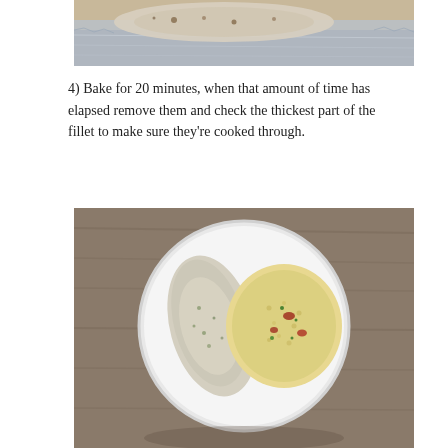[Figure (photo): Top portion of a fish fillet wrapped in aluminum foil in a baking pan, partially cut off at top of page.]
4) Bake for 20 minutes, when that amount of time has elapsed remove them and check the thickest part of the fillet to make sure they're cooked through.
[Figure (photo): Overhead view of a white plate on a wooden table with a baked fish fillet topped with herbs and a side of couscous or grain salad with sun-dried tomatoes and herbs.]